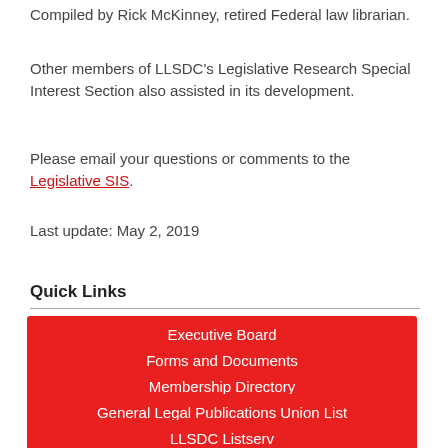Compiled by Rick McKinney, retired Federal law librarian.
Other members of LLSDC's Legislative Research Special Interest Section also assisted in its development.
Please email your questions or comments to the Legislative SIS.
Last update: May 2, 2019
Quick Links
Executive Board
Forms and Documents
Membership Directory
General Legal Publications Union List
LLSDC Listserv
LLSDC Jobline